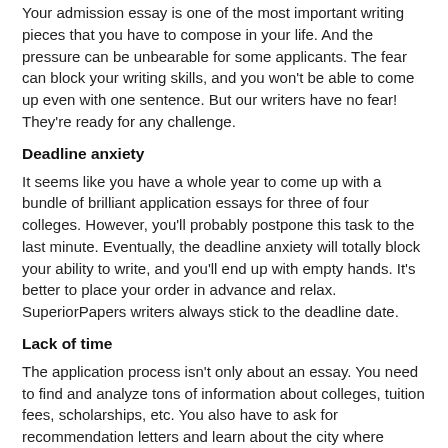Your admission essay is one of the most important writing pieces that you have to compose in your life. And the pressure can be unbearable for some applicants. The fear can block your writing skills, and you won't be able to come up even with one sentence. But our writers have no fear! They're ready for any challenge.
Deadline anxiety
It seems like you have a whole year to come up with a bundle of brilliant application essays for three of four colleges. However, you'll probably postpone this task to the last minute. Eventually, the deadline anxiety will totally block your ability to write, and you'll end up with empty hands. It's better to place your order in advance and relax. SuperiorPapers writers always stick to the deadline date.
Lack of time
The application process isn't only about an essay. You need to find and analyze tons of information about colleges, tuition fees, scholarships, etc. You also have to ask for recommendation letters and learn about the city where you're going to study (if you leave your parents' house). After all, you have to pass exams! With all this fuss, you'll face serious time restrictions. Perhaps, sharing this burden is the best possible option.
The application paper is an essential part of the admissions process. The committee will check the student's academic record and extracurricular